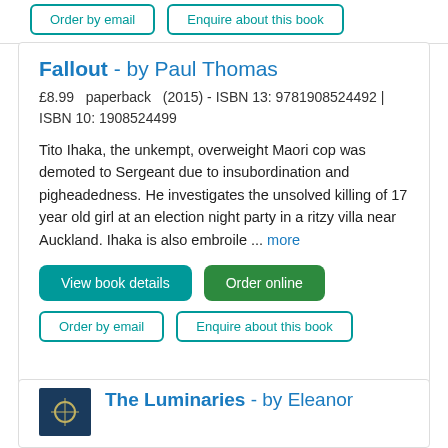Order by email | Enquire about this book
Fallout - by Paul Thomas
£8.99   paperback   (2015) - ISBN 13: 9781908524492 | ISBN 10: 1908524499
Tito Ihaka, the unkempt, overweight Maori cop was demoted to Sergeant due to insubordination and pigheadedness. He investigates the unsolved killing of 17 year old girl at an election night party in a ritzy villa near Auckland. Ihaka is also embroile ... more
View book details
Order online
Order by email
Enquire about this book
The Luminaries - by Eleanor